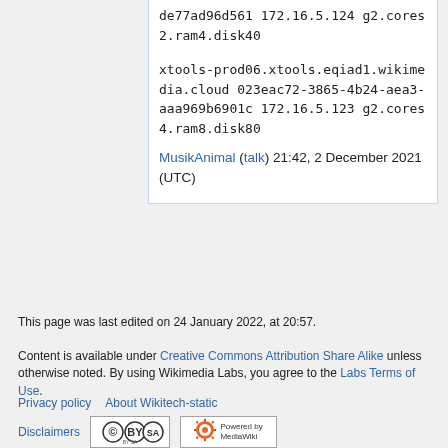de77ad96d561 172.16.5.124 g2.cores2.ram4.disk40

xtools-prod06.xtools.eqiad1.wikimedia.cloud 023eac72-3865-4b24-aea3-aaa969b6901c 172.16.5.123 g2.cores4.ram8.disk80
MusikAnimal (talk) 21:42, 2 December 2021 (UTC)
This page was last edited on 24 January 2022, at 20:57.
Content is available under Creative Commons Attribution Share Alike unless otherwise noted. By using Wikimedia Labs, you agree to the Labs Terms of Use.
Privacy policy   About Wikitech-static
Disclaimers